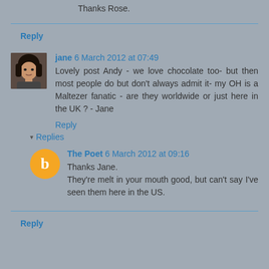Thanks Rose.
Reply
jane 6 March 2012 at 07:49
Lovely post Andy - we love chocolate too- but then most people do but don't always admit it- my OH is a Maltezer fanatic - are they worldwide or just here in the UK ? - Jane
Reply
Replies
The Poet 6 March 2012 at 09:16
Thanks Jane.
They're melt in your mouth good, but can't say I've seen them here in the US.
Reply